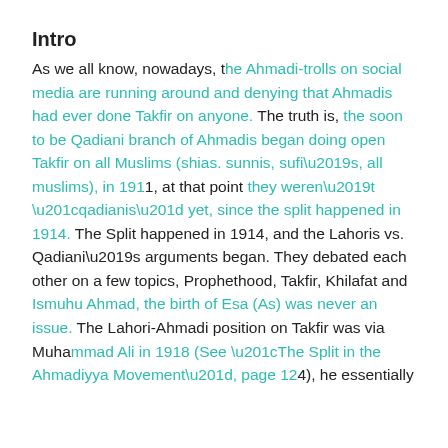Intro
As we all know, nowadays, the Ahmadi-trolls on social media are running around and denying that Ahmadis had ever done Takfir on anyone. The truth is, the soon to be Qadiani branch of Ahmadis began doing open Takfir on all Muslims (shias. sunnis, sufi’s, all muslims), in 1911, at that point they weren’t “qadianis” yet, since the split happened in 1914. The Split happened in 1914, and the Lahoris vs. Qadiani’s arguments began. They debated each other on a few topics, Prophethood, Takfir, Khilafat and Ismuhu Ahmad, the birth of Esa (As) was never an issue. The Lahori-Ahmadi position on Takfir was via Muhammad Ali in 1918 (See “The Split in the Ahmadiyya Movement”, page 124), he essentially